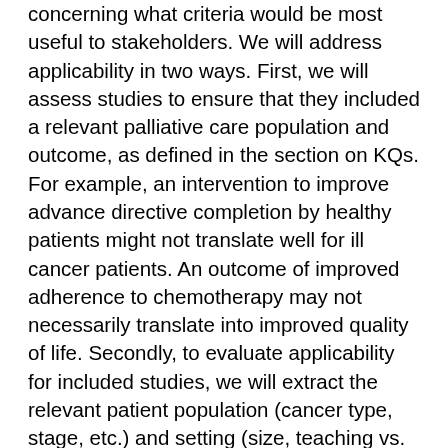concerning what criteria would be most useful to stakeholders. We will address applicability in two ways. First, we will assess studies to ensure that they included a relevant palliative care population and outcome, as defined in the section on KQs. For example, an intervention to improve advance directive completion by healthy patients might not translate well for ill cancer patients. An outcome of improved adherence to chemotherapy may not necessarily translate into improved quality of life. Secondly, to evaluate applicability for included studies, we will extract the relevant patient population (cancer type, stage, etc.) and setting (size, teaching vs. community hospital, etc.) information from each study in the evidence tables. For example, a QI study on improving pain management in cancer patients may not translate well to the frail elderly, for whom the [Back to Top ↑] is very different. A QI study that is successful in a